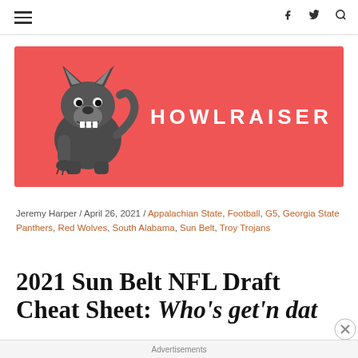≡  f  🐦  🔍
[Figure (logo): Howlraiser logo: red/coral banner with a grey wolf mascot on the left and 'HOWLRAISER' text in white bold letters on the right]
Jeremy Harper / April 26, 2021 / Appalachian State, Football, G5, Georgia State Panthers, Red Wolves, South Alabama, Sun Belt, Troy Trojans
2021 Sun Belt NFL Draft Cheat Sheet: Who's get'n dat…
Advertisements